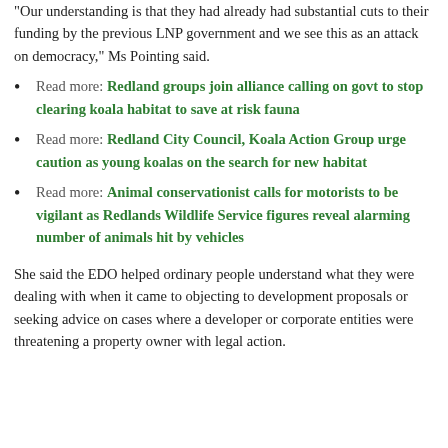"Our understanding is that they had already had substantial cuts to their funding by the previous LNP government and we see this as an attack on democracy," Ms Pointing said.
Read more: Redland groups join alliance calling on govt to stop clearing koala habitat to save at risk fauna
Read more: Redland City Council, Koala Action Group urge caution as young koalas on the search for new habitat
Read more: Animal conservationist calls for motorists to be vigilant as Redlands Wildlife Service figures reveal alarming number of animals hit by vehicles
She said the EDO helped ordinary people understand what they were dealing with when it came to objecting to development proposals or seeking advice on cases where a developer or corporate entities were threatening a property owner with legal action.